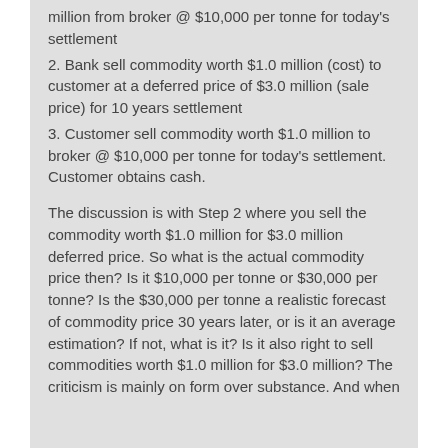million from broker @ $10,000 per tonne for today's settlement
2. Bank sell commodity worth $1.0 million (cost) to customer at a deferred price of $3.0 million (sale price) for 10 years settlement
3. Customer sell commodity worth $1.0 million to broker @ $10,000 per tonne for today's settlement. Customer obtains cash.
The discussion is with Step 2 where you sell the commodity worth $1.0 million for $3.0 million deferred price. So what is the actual commodity price then? Is it $10,000 per tonne or $30,000 per tonne? Is the $30,000 per tonne a realistic forecast of commodity price 30 years later, or is it an average estimation? If not, what is it? Is it also right to sell commodities worth $1.0 million for $3.0 million? The criticism is mainly on form over substance. And when